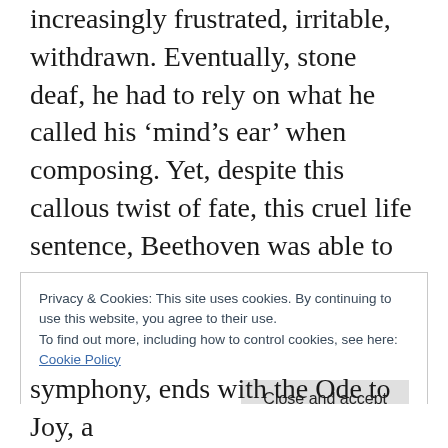increasingly frustrated, irritable, withdrawn. Eventually, stone deaf, he had to rely on what he called his ‘mind’s ear’ when composing. Yet, despite this callous twist of fate, this cruel life sentence, Beethoven was able to conjure music of astonishing beauty, exquisite harmonies that soared. He crafted compositions of unprecedented complexity and grandeur, sublime, transcendent, immortal.
Privacy & Cookies: This site uses cookies. By continuing to use this website, you agree to their use.
To find out more, including how to control cookies, see here:
Cookie Policy
symphony, ends with the Ode to Joy, a